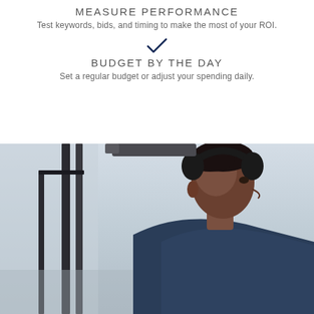MEASURE PERFORMANCE
Test keywords, bids, and timing to make the most of your ROI.
[Figure (illustration): Dark navy checkmark symbol used as a section divider]
BUDGET BY THE DAY
Set a regular budget or adjust your spending daily.
[Figure (photo): Young man wearing over-ear headphones, dressed in a denim jacket, looking sideways, photographed outdoors with a light overcast sky background and dark vertical poles on the left side.]